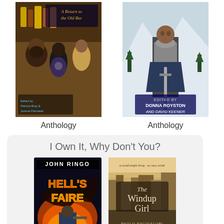[Figure (illustration): Book cover: A Return to the Old Bar - fantasy anthology with medieval characters in a bar setting, edited by Patricia Bray & Joshua Palmatier]
Anthology
[Figure (illustration): Book cover: Fantastic Defenders - fantasy anthology with armored warrior in snow, edited by Donna Royston and David Keener]
Anthology
I Own It, Why Don't You?
[Figure (illustration): Book cover: Hell's Faire by John Ringo - science fiction with dragon and soldier imagery]
[Figure (illustration): Book cover: The Windup Girl - science fiction with futuristic city background]